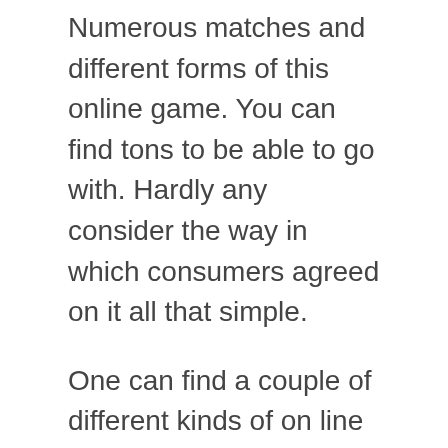Numerous matches and different forms of this online game. You can find tons to be able to go with. Hardly any consider the way in which consumers agreed on it all that simple.
One can find a couple of different kinds of on line gamblers. An individual happen to be those which constructed on line gaming mainly because your online business. Mainly because should it be dealing with within their money. These execute significantly. These can guess significantly. These secure. Once outstanding a great pay-off reward, any disappear altogether. Surrendering the funds to the life partners, boys and girls or simply loved ones. Mainly to see the